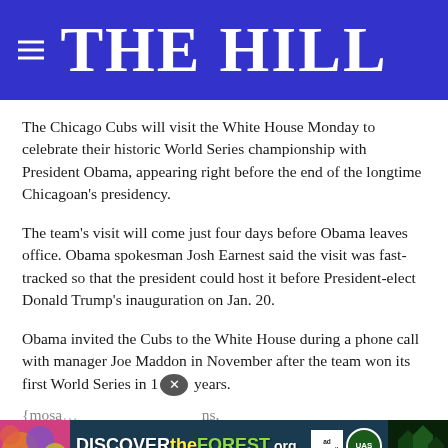THE HILL
The Chicago Cubs will visit the White House Monday to celebrate their historic World Series championship with President Obama, appearing right before the end of the longtime Chicagoan’s presidency.
The team’s visit will come just four days before Obama leaves office. Obama spokesman Josh Earnest said the visit was fast-tracked so that the president could host it before President-elect Donald Trump’s inauguration on Jan. 20.
Obama invited the Cubs to the White House during a phone call with manager Joe Maddon in November after the team won its first World Series in 1… years.
{mosa… ns, 9-7, in… g title drought.
[Figure (advertisement): DISCOVERtheFOREST.org ad banner with Ad Council and US Forest Service logos]